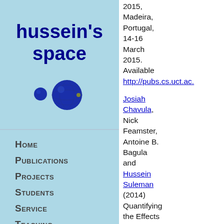hussein's space
[Figure (illustration): Two blue spheres/planets on a light blue background]
Home
Publications
Projects
Students
Service
Teaching
2015, Madeira, Portugal, 14-16 March 2015. Available http://pubs.cs.uct.ac.
Josiah Chavula, Nick Feamster, Antoine B. Bagula and Hussein Suleman (2014) Quantifying the Effects of Circuitous Routes on the